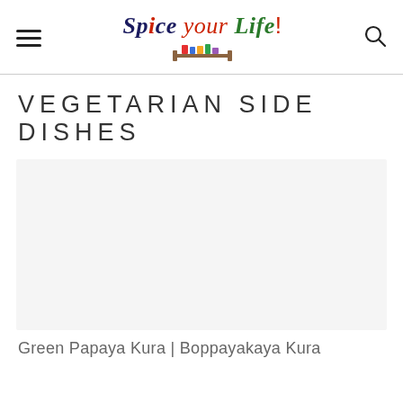Spice your Life!
VEGETARIAN SIDE DISHES
[Figure (photo): Food photograph placeholder for Green Papaya Kura | Boppayakaya Kura]
Green Papaya Kura | Boppayakaya Kura